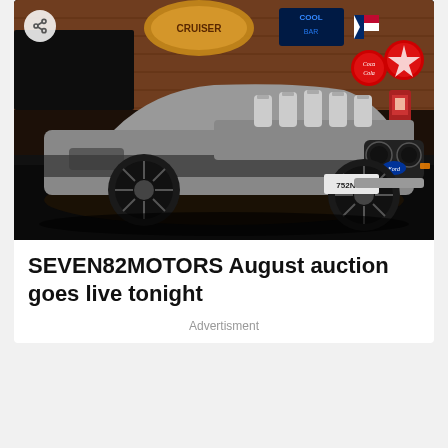[Figure (photo): A customized silver/gray muscle car with large engine blower stacks protruding from the hood, photographed inside a vintage-themed garage with brick walls, neon signs, and retro gas pump decorations. The car has dark wheels and a low stance. License plate reads 752NTS.]
SEVEN82MOTORS August auction goes live tonight
Advertisment